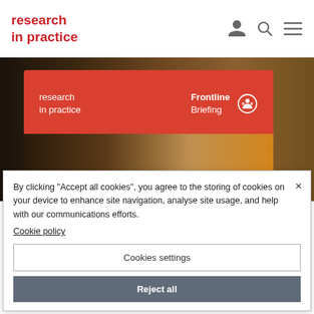research in practice
[Figure (photo): Screenshot of research in practice website showing a Frontline Briefing red card overlay on a background photo of faces, with a cookie consent dialog box overlaid on the bottom half of the screen.]
By clicking “Accept all cookies”, you agree to the storing of cookies on your device to enhance site navigation, analyse site usage, and help with our communications efforts.
Cookie policy
Cookies settings
Reject all